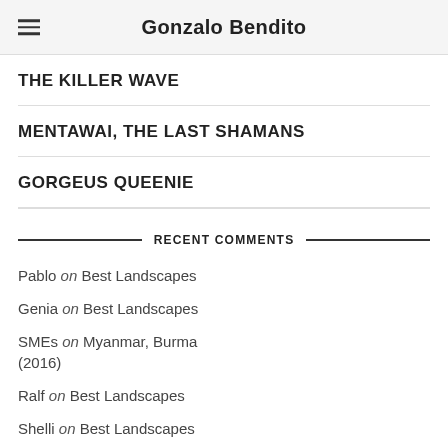Gonzalo Bendito
THE KILLER WAVE
MENTAWAI, THE LAST SHAMANS
GORGEUS QUEENIE
RECENT COMMENTS
Pablo on Best Landscapes
Genia on Best Landscapes
SMEs on Myanmar, Burma (2016)
Ralf on Best Landscapes
Shelli on Best Landscapes